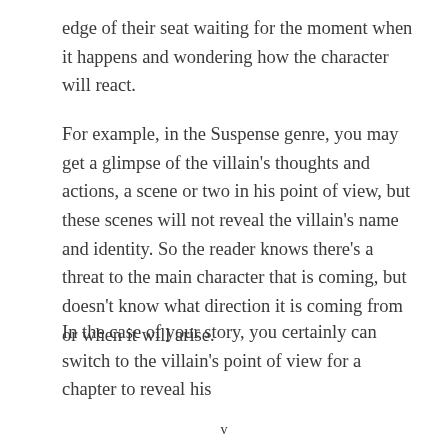edge of their seat waiting for the moment when it happens and wondering how the character will react.
For example, in the Suspense genre, you may get a glimpse of the villain's thoughts and actions, a scene or two in his point of view, but these scenes will not reveal the villain's name and identity. So the reader knows there's a threat to the main character that is coming, but doesn't know what direction it is coming from or when it will arise.
In the case of your story, you certainly can switch to the villain's point of view for a chapter to reveal his
v